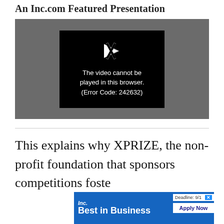An Inc.com Featured Presentation
[Figure (screenshot): Video player showing error message: 'The video cannot be played in this browser. (Error Code: 242632)' on a black inner screen within a dark gray video player background.]
This explains why XPRIZE, the non-profit foundation that sponsors competitions foste
[Figure (other): Inc. Best in Business advertisement banner. Shows 'Inc.' logo, 'Best in Business' text, 'Deadline: 9/1' and 'Apply Now' button on blue background.]